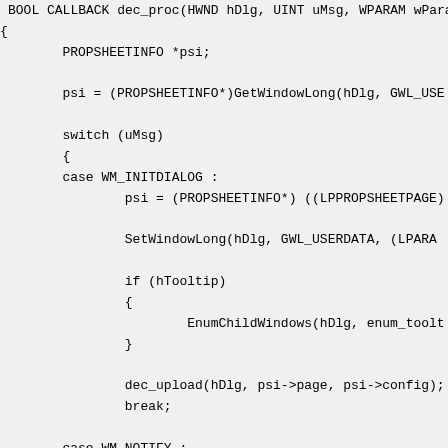BOOL CALLBACK dec_proc(HWND hDlg, UINT uMsg, WPARAM wPara
{
        PROPSHEETINFO *psi;

        psi = (PROPSHEETINFO*)GetWindowLong(hDlg, GWL_USE

        switch (uMsg)
        {
        case WM_INITDIALOG :
                psi = (PROPSHEETINFO*) ((LPPROPSHEETPAGE)

                SetWindowLong(hDlg, GWL_USERDATA, (LPARA

                if (hTooltip)
                {
                        EnumChildWindows(hDlg, enum_toolt
                }

                dec_upload(hDlg, psi->page, psi->config);
                break;

        case WM_NOTIFY :
                switch (((NMHDR *)lParam)->code)
                {
                case PSN_KILLACTIVE :
                        /* validate */
                        dec_download(hDlg, psi->page, psi
                        SetWindowLong(hDlg, DWL_MSGRESULT
                        break;

                        PSN_APPLY